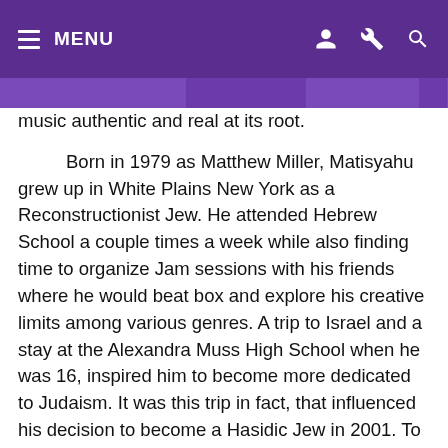MENU
music authentic and real at its root.
Born in 1979 as Matthew Miller, Matisyahu grew up in White Plains New York as a Reconstructionist Jew. He attended Hebrew School a couple times a week while also finding time to organize Jam sessions with his friends where he would beat box and explore his creative limits among various genres. A trip to Israel and a stay at the Alexandra Muss High School when he was 16, inspired him to become more dedicated to Judaism. It was this trip in fact, that influenced his decision to become a Hasidic Jew in 2001. To this day, he keeps his religious dedication intact while simultaneously pursuing his passion for music, more often than not, by combining the two. “Before I was religious, to me music was soul.” He said, “I looked at the world through the lens of whatever CD I was listening to. In